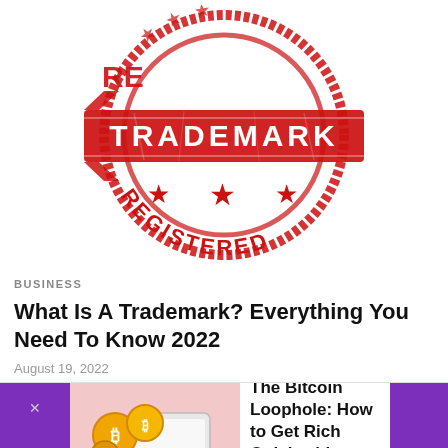[Figure (illustration): Red registered trademark stamp with 'TRADEMARK' in the center banner, 'REGISTERED' along the bottom arc, stars, and distressed texture.]
BUSINESS
What Is A Trademark? Everything You Need To Know 2022
August 19, 2022
[Figure (infographic): Advertisement banner: purple left panel with left arrow, image of gold bitcoin coins on a phone/card, text 'The Bitcoin Loophole: How to Get Rich Quick with Bitcoin', purple right panel with up arrow.]